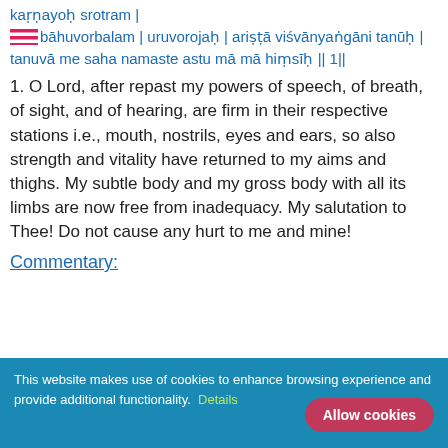karṇayoḥ srotram | bāhuvorbalam | uruvorojaḥ | ariṣṭā viśvānyaṅgāni tanūḥ | tanuvā me saha namaste astu mā mā hiṃsīḥ || 1||
1. O Lord, after repast my powers of speech, of breath, of sight, and of hearing, are firm in their respective stations i.e., mouth, nostrils, eyes and ears, so also strength and vitality have returned to my aims and thighs. My subtle body and my gross body with all its limbs are now free from inadequacy. My salutation to Thee! Do not cause any hurt to me and mine!
Commentary:
This website makes use of cookies to enhance browsing experience and provide additional functionality. Details   Allow cookies